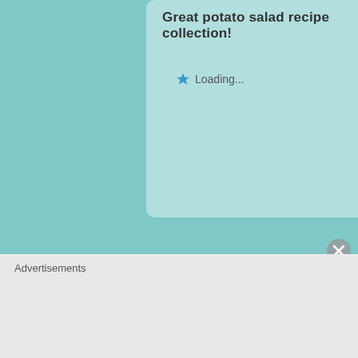Great potato salad recipe collection!
Loading...
jovinacooksitalian
June 28, 2013 at 7:29 am
Thanks Pam
Loading...
Advertisements